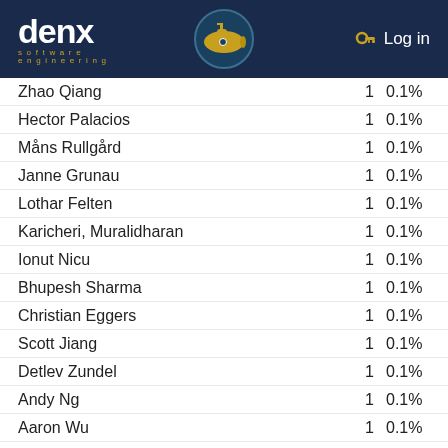denx software engineering — submarine logo — Log in
| Name | Count | Percent |
| --- | --- | --- |
| Zhao Qiang | 1 | 0.1% |
| Hector Palacios | 1 | 0.1% |
| Måns Rullgård | 1 | 0.1% |
| Janne Grunau | 1 | 0.1% |
| Lothar Felten | 1 | 0.1% |
| Karicheri, Muralidharan | 1 | 0.1% |
| Ionut Nicu | 1 | 0.1% |
| Bhupesh Sharma | 1 | 0.1% |
| Christian Eggers | 1 | 0.1% |
| Scott Jiang | 1 | 0.1% |
| Detlev Zundel | 1 | 0.1% |
| Andy Ng | 1 | 0.1% |
| Aaron Wu | 1 | 0.1% |
| Bob Liu | 1 | 0.1% |
| Novasys Ingenierie | 1 | 0.1% |
| Jim Lin | 1 | 0.1% |